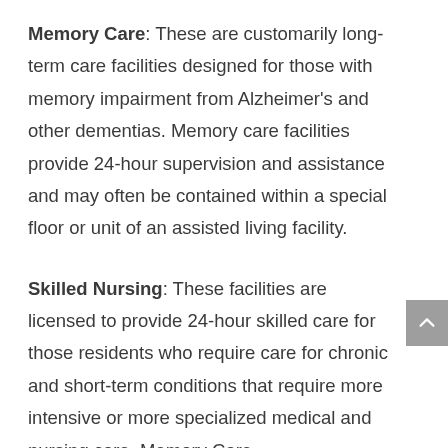Memory Care: These are customarily long-term care facilities designed for those with memory impairment from Alzheimer's and other dementias. Memory care facilities provide 24-hour supervision and assistance and may often be contained within a special floor or unit of an assisted living facility.
Skilled Nursing: These facilities are licensed to provide 24-hour skilled care for those residents who require care for chronic and short-term conditions that require more intensive or more specialized medical and nursing care. Memory Care Debt...